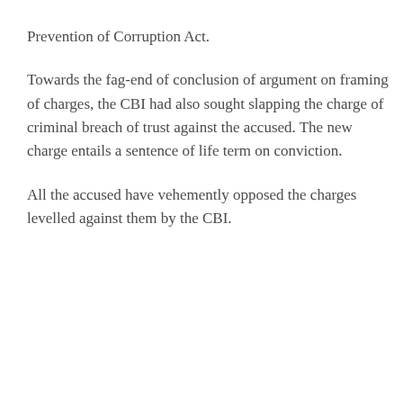Prevention of Corruption Act.
Towards the fag-end of conclusion of argument on framing of charges, the CBI had also sought slapping the charge of criminal breach of trust against the accused. The new charge entails a sentence of life term on conviction.
All the accused have vehemently opposed the charges levelled against them by the CBI.